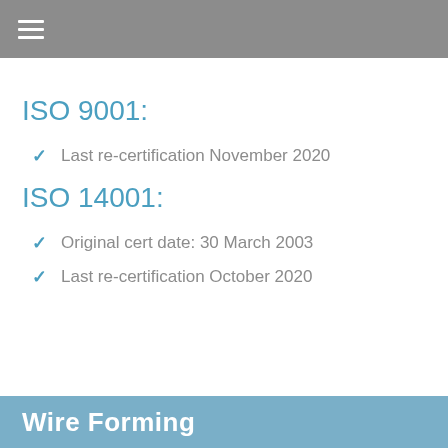≡
ISO 9001:
Last re-certification November 2020
ISO 14001:
Original cert date: 30 March 2003
Last re-certification October 2020
Wire Forming